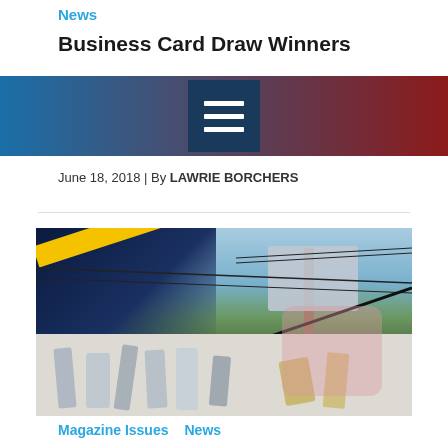News
Business Card Draw Winners
[Figure (screenshot): Navigation banner with blue-to-red gradient and hamburger menu icon in center]
June 18, 2018 | By LAWRIE BORCHERS
[Figure (photo): Composite image showing electrical utility pole with equipment against mountain backdrop (top) and various electrical insulators/hardware laid out (bottom), with diagonal split and pink highlight rectangle on right side]
Magazine Issues  News
The 2018 Annual Purchasing Directory is here!